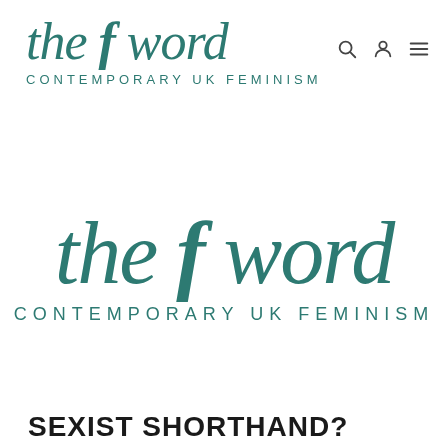the f word CONTEMPORARY UK FEMINISM
[Figure (logo): The F Word logo — large centered version. Italic serif text reading 'the f word' in teal/dark green color, with 'CONTEMPORARY UK FEMINISM' in small spaced caps below.]
SEXIST SHORTHAND?